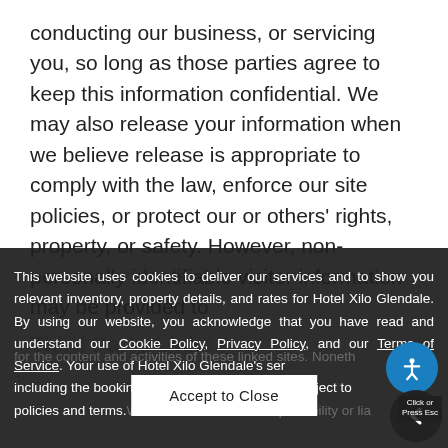conducting our business, or servicing you, so long as those parties agree to keep this information confidential. We may also release your information when we believe release is appropriate to comply with the law, enforce our site policies, or protect our or others' rights, property, or safety. However, non-personally identifiable visitor information may be provided to other parties for marketing, advertising, or other uses.
Third Party Links
This website uses cookies to deliver our services and to show you relevant inventory, property details, and rates for Hotel Xilo Glendale. By using our website, you acknowledge that you have read and understand our Cookie Policy, Privacy Policy, and our Terms of Service. Your use of Hotel Xilo Glendale's services, including the booking of online reservations, is subject to these policies and terms.
We therefore have no responsibility or liability for the content and activities of these linked sites. Nonetheless,